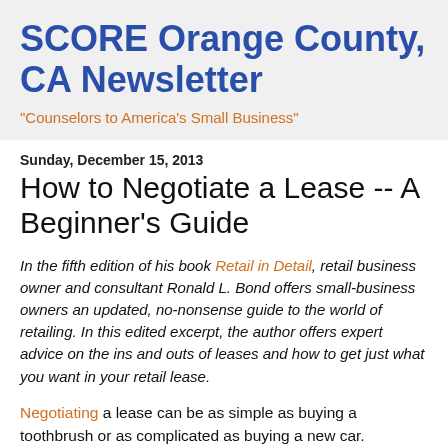SCORE Orange County, CA Newsletter
"Counselors to America's Small Business"
Sunday, December 15, 2013
How to Negotiate a Lease -- A Beginner's Guide
In the fifth edition of his book Retail in Detail, retail business owner and consultant Ronald L. Bond offers small-business owners an updated, no-nonsense guide to the world of retailing. In this edited excerpt, the author offers expert advice on the ins and outs of leases and how to get just what you want in your retail lease.
Negotiating a lease can be as simple as buying a toothbrush or as complicated as buying a new car. Obviously, it's